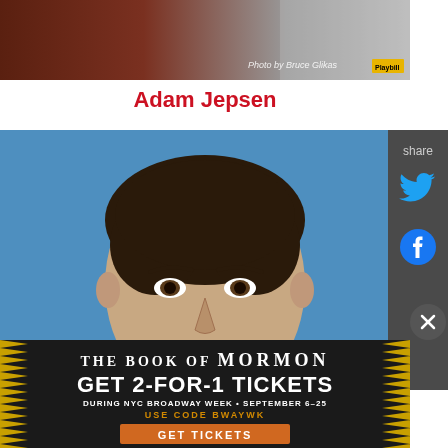[Figure (photo): Top portion of a photo showing partial clothing/background, with 'Photo by Bruce Glikas' credit and Playbill badge overlay]
Adam Jepsen
[Figure (photo): Headshot of Adam Jepsen smiling against a blue background with partial 'TOM' lettering visible]
share
[Figure (other): Twitter bird icon in cyan for sharing]
[Figure (other): Facebook circle icon in blue for sharing]
[Figure (infographic): Advertisement for The Book of Mormon - Get 2-For-1 Tickets during NYC Broadway Week September 6-25, Use Code BWAYWK, GET TICKETS button]